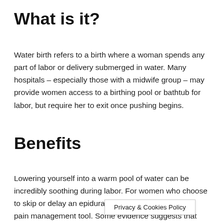What is it?
Water birth refers to a birth where a woman spends any part of labor or delivery submerged in water. Many hospitals – especially those with a midwife group – may provide women access to a birthing pool or bathtub for labor, but require her to exit once pushing begins.
Benefits
Lowering yourself into a warm pool of water can be incredibly soothing during labor. For women who choose to skip or delay an epidural, a bathtub can be a good pain management tool. Some evidence suggests that laboring in water can also help prevent tearing of the perineum, the delicate ti… a and This…